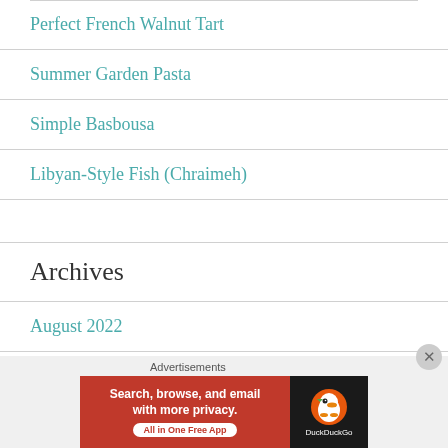Perfect French Walnut Tart
Summer Garden Pasta
Simple Basbousa
Libyan-Style Fish (Chraimeh)
Archives
August 2022
July 2022
[Figure (screenshot): DuckDuckGo advertisement banner: 'Search, browse, and email with more privacy. All in One Free App' with DuckDuckGo logo on dark background, overlaid on page bottom with 'Advertisements' label and a close (X) button]